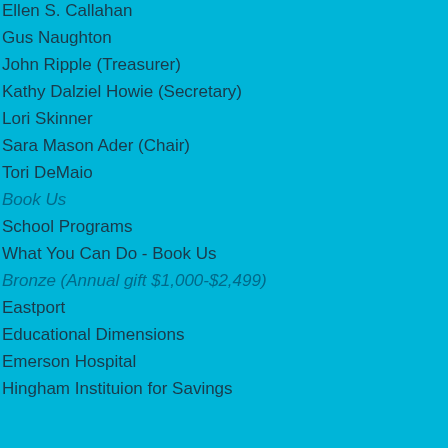Ellen S. Callahan
Gus Naughton
John Ripple (Treasurer)
Kathy Dalziel Howie (Secretary)
Lori Skinner
Sara Mason Ader (Chair)
Tori DeMaio
Book Us
School Programs
What You Can Do - Book Us
Bronze (Annual gift $1,000-$2,499)
Eastport
Educational Dimensions
Emerson Hospital
Hingham Instituion for Savings